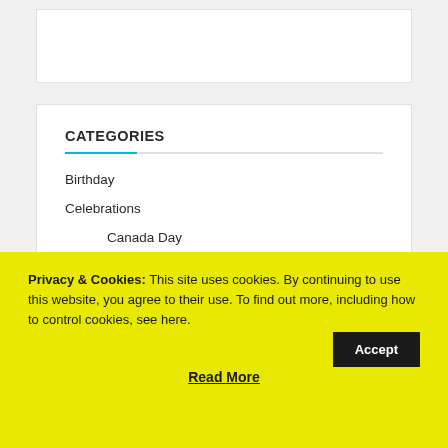CATEGORIES
Birthday
Celebrations
Canada Day
Christmas
Privacy & Cookies: This site uses cookies. By continuing to use this website, you agree to their use. To find out more, including how to control cookies, see here.
Accept
Read More